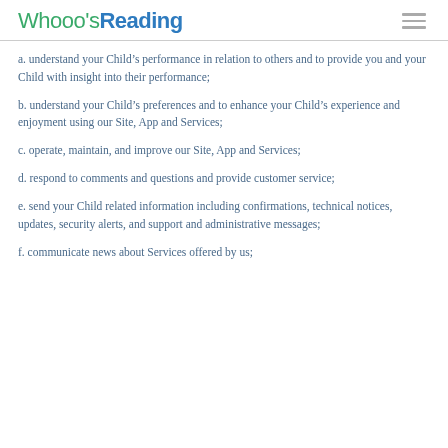Whooo's Reading
a. understand your Child's performance in relation to others and to provide you and your Child with insight into their performance;
b. understand your Child's preferences and to enhance your Child's experience and enjoyment using our Site, App and Services;
c. operate, maintain, and improve our Site, App and Services;
d. respond to comments and questions and provide customer service;
e. send your Child related information including confirmations, technical notices, updates, security alerts, and support and administrative messages;
f. communicate news about Services offered by us;